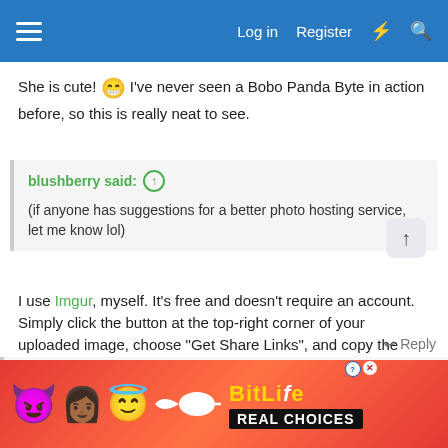Log in  Register
She is cute! 😁 I've never seen a Bobo Panda Byte in action before, so this is really neat to see.
blushberry said: ↑
(if anyone has suggestions for a better photo hosting service, let me know lol)
I use Imgur, myself. It's free and doesn't require an account. Simply click the button at the top-right corner of your uploaded image, choose "Get Share Links", and copy the BBCode over to your posts here.
↩ Reply
blushberry and 221Room
[Figure (screenshot): BitLife - Real Choices advertisement banner with emoji characters]